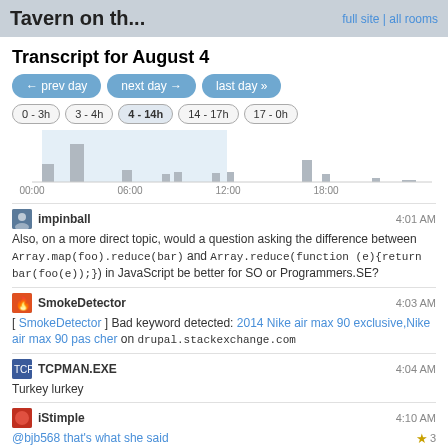Tavern on th...   full site | all rooms
Transcript for August 4
← prev day   next day →   last day »
0 - 3h   3 - 4h   4 - 14h   14 - 17h   17 - 0h
[Figure (bar-chart): Activity chart August 4]
impinball   4:01 AM
Also, on a more direct topic, would a question asking the difference between Array.map(foo).reduce(bar) and Array.reduce(function (e){return bar(foo(e));}) in JavaScript be better for SO or Programmers.SE?
SmokeDetector   4:03 AM
[ SmokeDetector ] Bad keyword detected: 2014 Nike air max 90 exclusive,Nike air max 90 pas cher on drupal.stackexchange.com
TCPMAN.EXE   4:04 AM
Turkey lurkey
iStimple   4:10 AM
@bjb568 that's what she said   ★3